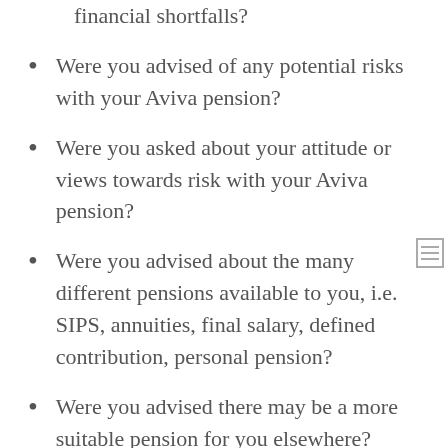financial shortfalls?
Were you advised of any potential risks with your Aviva pension?
Were you asked about your attitude or views towards risk with your Aviva pension?
Were you advised about the many different pensions available to you, i.e. SIPS, annuities, final salary, defined contribution, personal pension?
Were you advised there may be a more suitable pension for you elsewhere?
Were you given the opportunity to look elsewhere?